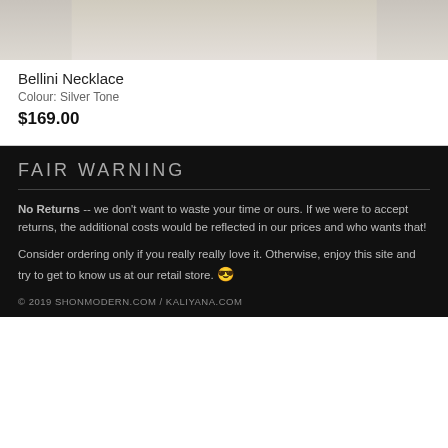[Figure (photo): Partial product photo of a Bellini Necklace, showing a light beige/cream background with part of the jewelry item visible at the top.]
Bellini Necklace
Colour: Silver Tone
$169.00
FAIR WARNING
No Returns -- we don't want to waste your time or ours. If we were to accept returns, the additional costs would be reflected in our prices and who wants that!
Consider ordering only if you really really love it. Otherwise, enjoy this site and try to get to know us at our retail store. 😎
© 2019 SHONMODERN.COM / KALIYANA.COM